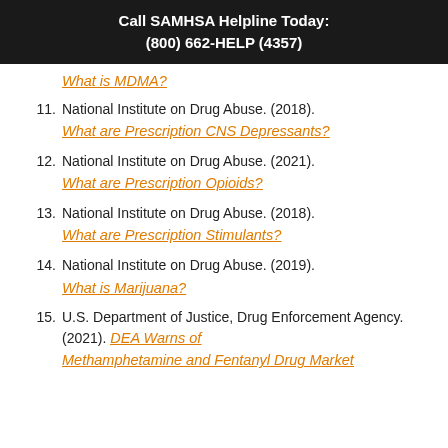Call SAMHSA Helpline Today:
(800) 662-HELP (4357)
What is MDMA? (partial, item 10 continuation)
11. National Institute on Drug Abuse. (2018). What are Prescription CNS Depressants?
12. National Institute on Drug Abuse. (2021). What are Prescription Opioids?
13. National Institute on Drug Abuse. (2018). What are Prescription Stimulants?
14. National Institute on Drug Abuse. (2019). What is Marijuana?
15. U.S. Department of Justice, Drug Enforcement Agency. (2021). DEA Warns of Methamphetamine and Fentanyl Drug Market